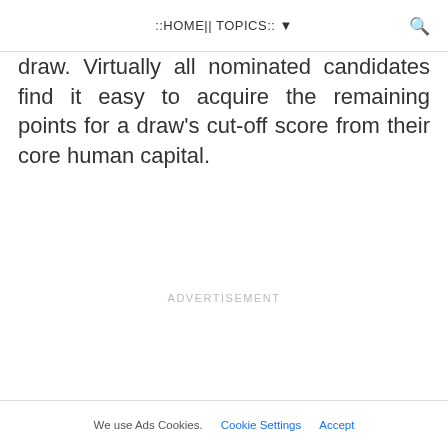::HOME|| TOPICS:: ▾
draw. Virtually all nominated candidates find it easy to acquire the remaining points for a draw's cut-off score from their core human capital.
ADVERTISEMENT
We use Ads Cookies.  Cookie Settings  Accept